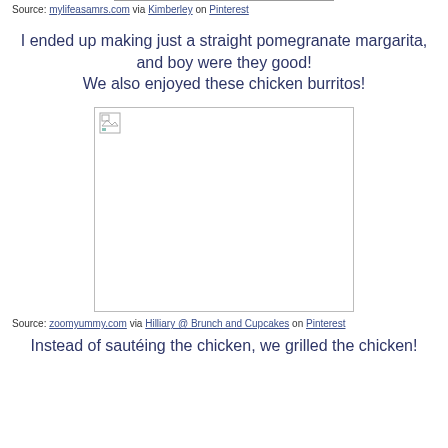Source: mylifeasamrs.com via Kimberley on Pinterest
I ended up making just a straight pomegranate margarita, and boy were they good! We also enjoyed these chicken burritos!
[Figure (photo): Broken image placeholder for chicken burritos photo from zoomyummy.com]
Source: zoomyummy.com via Hilliary @ Brunch and Cupcakes on Pinterest
Instead of sautéing the chicken, we grilled the chicken!